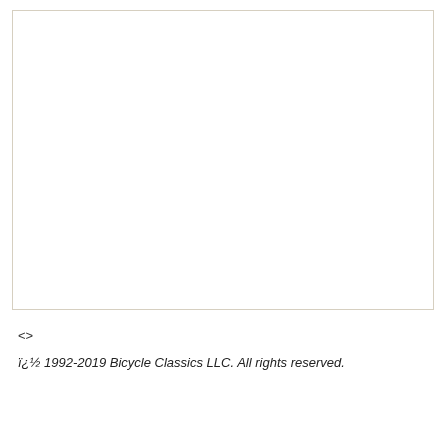[Figure (other): Large white bordered rectangular area, mostly blank/empty, occupying the upper portion of the page with a thin beige/tan border.]
<>
ï¿½ 1992-2019 Bicycle Classics LLC. All rights reserved.